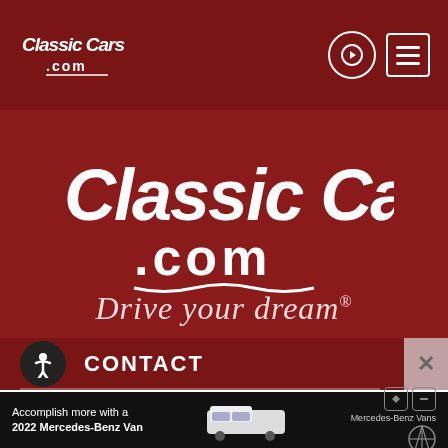[Figure (logo): ClassicCars.com small logo in header, white text on dark red background]
[Figure (logo): ClassicCars.com large centered logo in white on dark red background]
Drive your dream®
CONTACT
[Figure (infographic): Mercedes-Benz Vans advertisement banner: 'Accomplish more with a 2022 Mercedes-Benz Van']